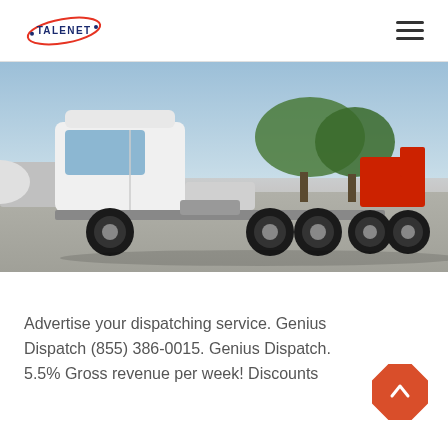TALENET
[Figure (photo): Side profile photograph of a white heavy-duty semi truck tractor (6x4 configuration) parked on a concrete lot with trees and other vehicles visible in the background under a partly cloudy sky.]
Advertise your dispatching service. Genius Dispatch (855) 386-0015. Genius Dispatch. 5.5% Gross revenue per week! Discounts